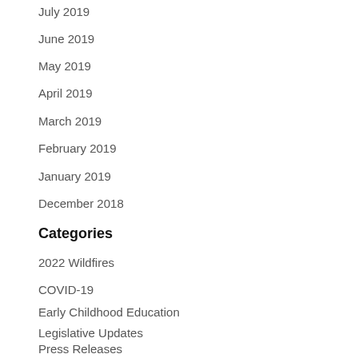July 2019
June 2019
May 2019
April 2019
March 2019
February 2019
January 2019
December 2018
Categories
2022 Wildfires
COVID-19
Early Childhood Education
Legislative Updates
Press Releases
Public Safety